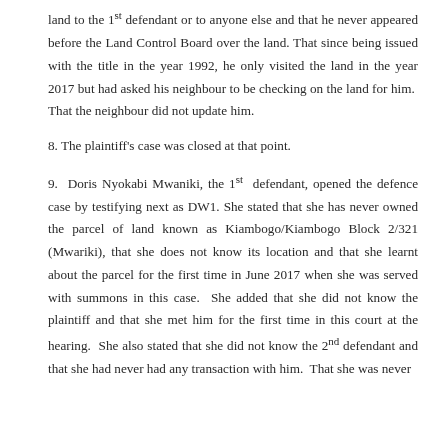land to the 1st defendant or to anyone else and that he never appeared before the Land Control Board over the land. That since being issued with the title in the year 1992, he only visited the land in the year 2017 but had asked his neighbour to be checking on the land for him. That the neighbour did not update him.
8. The plaintiff's case was closed at that point.
9. Doris Nyokabi Mwaniki, the 1st defendant, opened the defence case by testifying next as DW1. She stated that she has never owned the parcel of land known as Kiambogo/Kiambogo Block 2/321 (Mwariki), that she does not know its location and that she learnt about the parcel for the first time in June 2017 when she was served with summons in this case. She added that she did not know the plaintiff and that she met him for the first time in this court at the hearing. She also stated that she did not know the 2nd defendant and that she had never had any transaction with him. That she was never